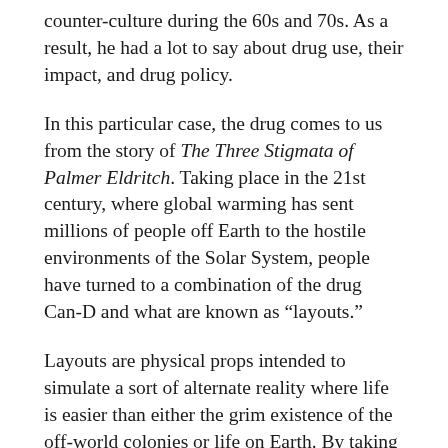counter-culture during the 60s and 70s. As a result, he had a lot to say about drug use, their impact, and drug policy.
In this particular case, the drug comes to us from the story of The Three Stigmata of Palmer Eldritch. Taking place in the 21st century, where global warming has sent millions of people off Earth to the hostile environments of the Solar System, people have turned to a combination of the drug Can-D and what are known as “layouts.”
Layouts are physical props intended to simulate a sort of alternate reality where life is easier than either the grim existence of the off-world colonies or life on Earth. By taking the drug in conjunction with the layouts, people are able to experience a sort of shared hallucinogenic state. This in turn has